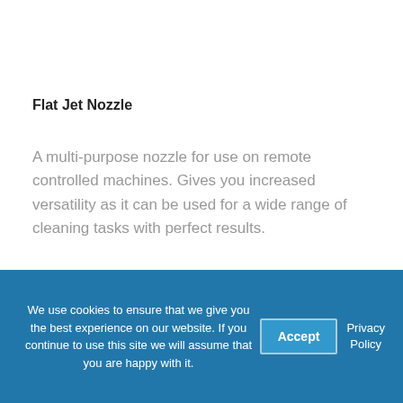Flat Jet Nozzle
A multi-purpose nozzle for use on remote controlled machines. Gives you increased versatility as it can be used for a wide range of cleaning tasks with perfect results.
We use cookies to ensure that we give you the best experience on our website. If you continue to use this site we will assume that you are happy with it.